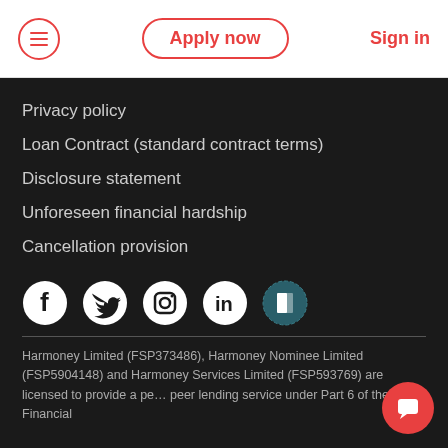Apply now | Sign in
Privacy policy
Loan Contract (standard contract terms)
Disclosure statement
Unforeseen financial hardship
Cancellation provision
[Figure (other): Social media icons: Facebook, Twitter, Instagram, LinkedIn, and one additional icon]
Harmoney Limited (FSP373486), Harmoney Nominee Limited (FSP5904148) and Harmoney Services Limited (FSP593769) are licensed to provide a peer-to-peer lending service under Part 6 of the Financial